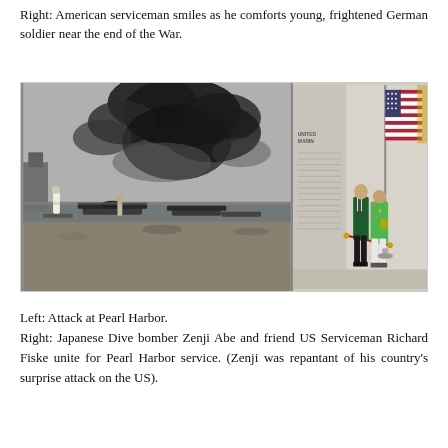Right: American serviceman smiles as he comforts young, frightened German soldier near the end of the War.
[Figure (photo): Left side: black and white photo of the attack at Pearl Harbor showing planes, smoke, fire and destruction. Right side: color photo of two men standing near a United States Marine memorial wall with an American flag — Japanese Dive bomber Zenji Abe and US Serviceman Richard Fiske.]
Left: Attack at Pearl Harbor.
Right: Japanese Dive bomber Zenji Abe and friend US Serviceman Richard Fiske unite for Pearl Harbor service. (Zenji was repantant of his country's surprise attack on the US).